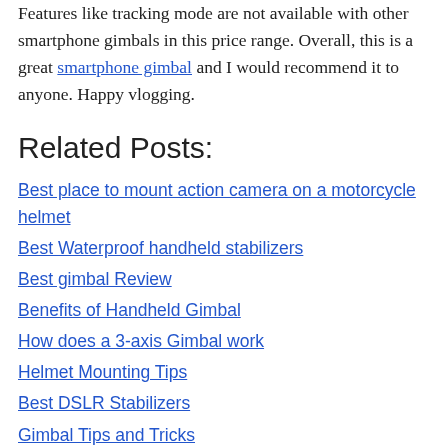Features like tracking mode are not available with other smartphone gimbals in this price range. Overall, this is a great smartphone gimbal and I would recommend it to anyone. Happy vlogging.
Related Posts:
Best place to mount action camera on a motorcycle helmet
Best Waterproof handheld stabilizers
Best gimbal Review
Benefits of Handheld Gimbal
How does a 3-axis Gimbal work
Helmet Mounting Tips
Best DSLR Stabilizers
Gimbal Tips and Tricks
How to Walk with a Gimbal